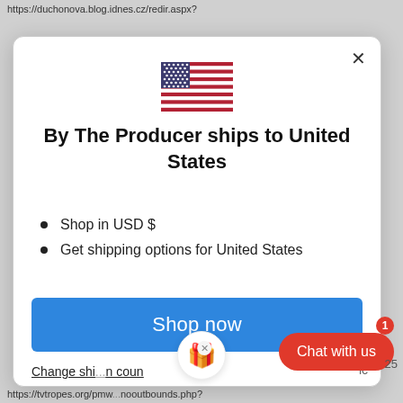https://duchonova.blog.idnes.cz/redir.aspx?
[Figure (screenshot): A modal popup dialog on a webpage showing a US flag emoji, the text 'By The Producer ships to United States', two bullet points ('Shop in USD $' and 'Get shipping options for United States'), a blue 'Shop now' button, a 'Change shipping country' link, a red 'Chat with us' button with badge showing 1, and a gift icon bubble.]
https://tvtropes.org/pmw...nooutbounds.php?